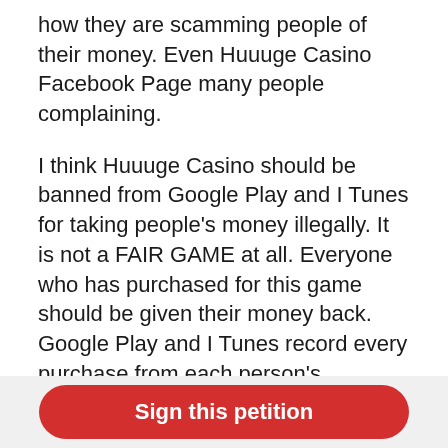how they are scamming people of their money.  Even Huuuge Casino Facebook Page many people complaining.
I think Huuuge Casino should be banned from Google Play and I Tunes for taking people's money illegally.  It is not a FAIR GAME at all.  Everyone who has purchased for this game should be given their money back.  Google Play and I Tunes record every purchase from each person's account.
Please sign the petition for Google Play and I Tunes to ban Huuuge Casino for illegally and wrongfully taking people's money and for either Huuuge Casino or Google Play and I Tunes to pay everyone back who has spent money on this GAME!!
Sign this petition